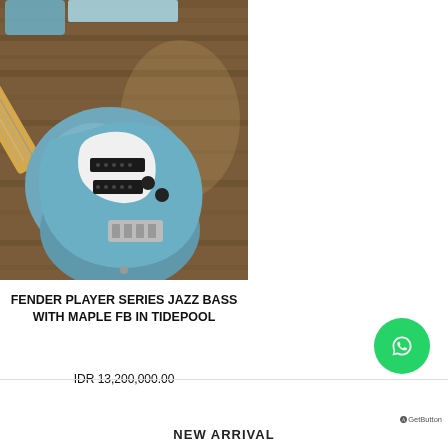[Figure (photo): Photo of a Fender Player Series Jazz Bass guitar with maple fretboard in Tidepool (light blue) color, shown on a wooden surface]
FENDER PLAYER SERIES JAZZ BASS WITH MAPLE FB IN TIDEPOOL
IDR 13,200,000.00
NEW ARRIVAL